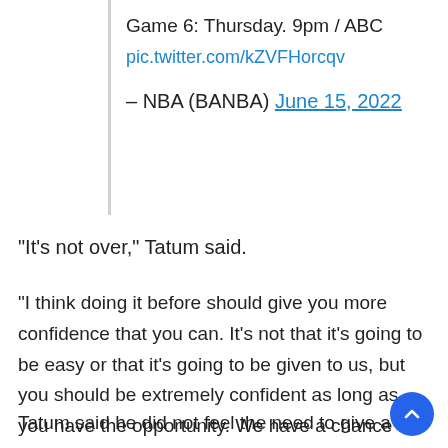Game 6: Thursday. 9pm / ABC
pic.twitter.com/kZVFHorcqv
– NBA (BANBA) June 15, 2022
“It’s not over,” Tatum said.
“I think doing it before should give you more confidence that you can. It’s not that it’s going to be easy or that it’s going to be given to us, but you should be extremely confident as long as you have the opportunity. We have a chance tomorrow. ”
Tatum said he did not feel the need to give a